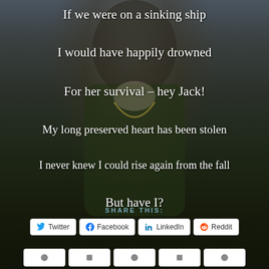[Figure (photo): Dark background photo of a man wearing a green sweater and gold chain necklace, with sunglasses, torso visible against a dark background]
If we were on a sinking ship
I would have happily drowned
For her survival – hey Jack!
My long preserved heart has been stolen
I never knew I could rise again from the fall
But have I?
SHARE THIS:
Twitter   Facebook   LinkedIn   Reddit